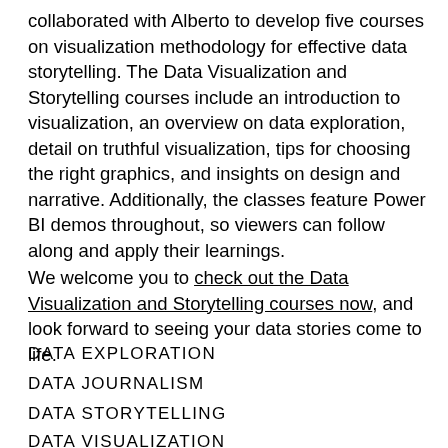collaborated with Alberto to develop five courses on visualization methodology for effective data storytelling. The Data Visualization and Storytelling courses include an introduction to visualization, an overview on data exploration, detail on truthful visualization, tips for choosing the right graphics, and insights on design and narrative. Additionally, the classes feature Power BI demos throughout, so viewers can follow along and apply their learnings.
We welcome you to check out the Data Visualization and Storytelling courses now, and look forward to seeing your data stories come to life.
DATA EXPLORATION
DATA JOURNALISM
DATA STORYTELLING
DATA VISUALIZATION